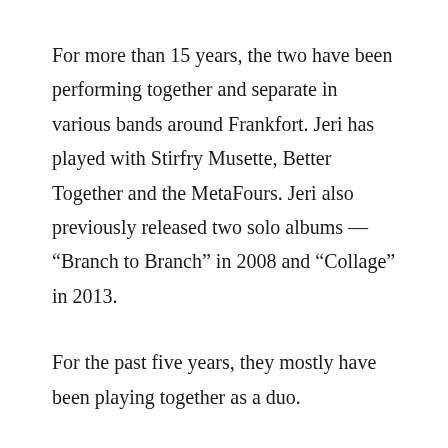For more than 15 years, the two have been performing together and separate in various bands around Frankfort. Jeri has played with Stirfry Musette, Better Together and the MetaFours. Jeri also previously released two solo albums — “Branch to Branch” in 2008 and “Collage” in 2013.
For the past five years, they mostly have been playing together as a duo.
In 2015, the duo took their music abroad to Ecuador. “We took our instruments and